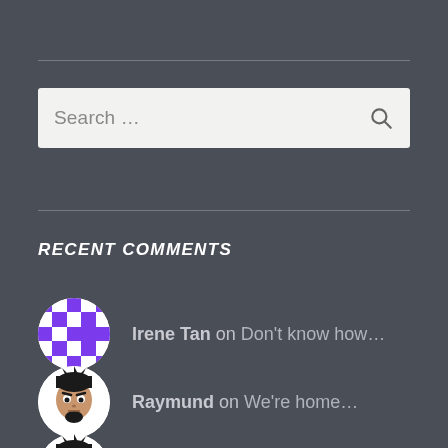[Figure (other): Search bar with placeholder text 'Search ...' and a magnifying glass icon on a light background]
RECENT COMMENTS
Irene Tan on Don't know how...
Raymund on We're home...
Raymund on Something about a Sunday...